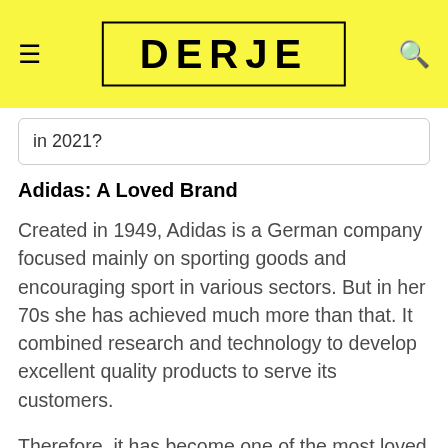DERJE
in 2021?
Adidas: A Loved Brand
Created in 1949, Adidas is a German company focused mainly on sporting goods and encouraging sport in various sectors. But in her 70s she has achieved much more than that. It combined research and technology to develop excellent quality products to serve its customers.
Therefore, it has become one of the most loved brands on the planet. The 3 parallel